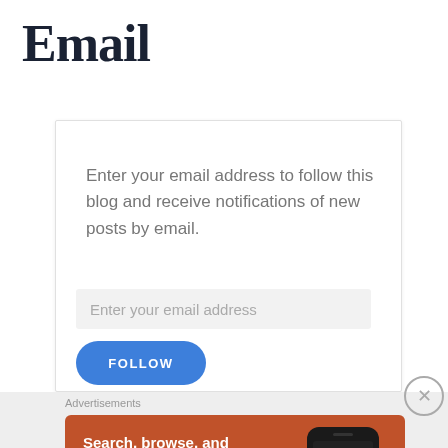Email
Enter your email address to follow this blog and receive notifications of new posts by email.
Enter your email address
FOLLOW
Advertisements
[Figure (screenshot): DuckDuckGo advertisement banner with orange background. Text reads: Search, browse, and email with more privacy. All in One Free App. Shows a dark smartphone with DuckDuckGo logo and branding.]